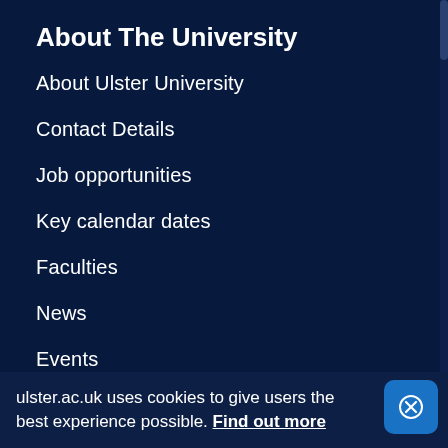About The University
About Ulster University
Contact Details
Job opportunities
Key calendar dates
Faculties
News
Events
Other sites
Alumni & Supporters
Employability and Careers
ulster.ac.uk uses cookies to give users the best experience possible. Find out more